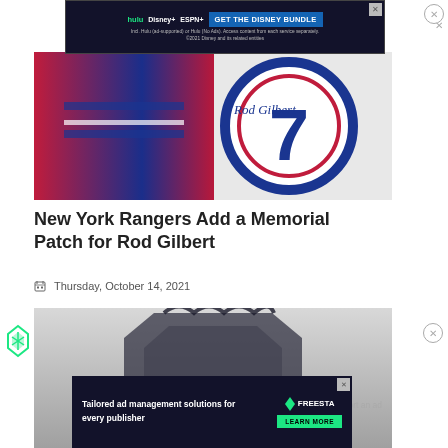[Figure (photo): Advertisement banner for Disney Bundle (Hulu, Disney+, ESPN+) with dark background and blue 'GET THE DISNEY BUNDLE' button]
[Figure (photo): Close-up photo of hockey player legs in red and blue Montreal Canadiens uniform on ice, with a circular Rod Gilbert #7 commemorative patch/puck showing his signature]
New York Rangers Add a Memorial Patch for Rod Gilbert
Thursday, October 14, 2021
[Figure (photo): Partial view of what appears to be an NHL logo or emblem on a grey background, with a Freestarcapital advertisement overlay reading 'Tailored ad management solutions for every publisher' with green LEARN MORE button]